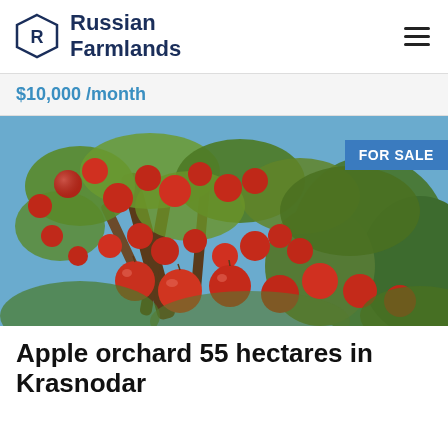Russian Farmlands
$10,000 /month
[Figure (photo): Apple orchard with red apples on branches against a blue sky, with a FOR SALE badge in the upper right corner]
Apple orchard 55 hectares in Krasnodar